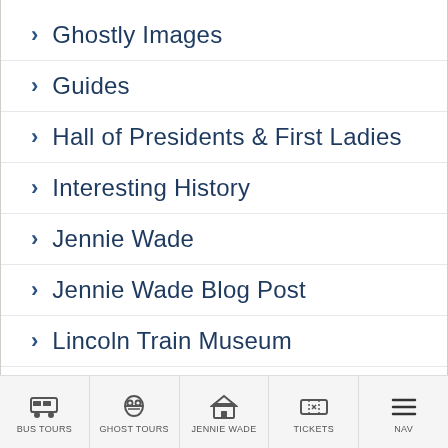Ghostly Images
Guides
Hall of Presidents & First Ladies
Interesting History
Jennie Wade
Jennie Wade Blog Post
Lincoln Train Museum
Monuments
Orphanage
Pour Tour Shuttle
BUS TOURS | GHOST TOURS | JENNIE WADE | TICKETS | NAV